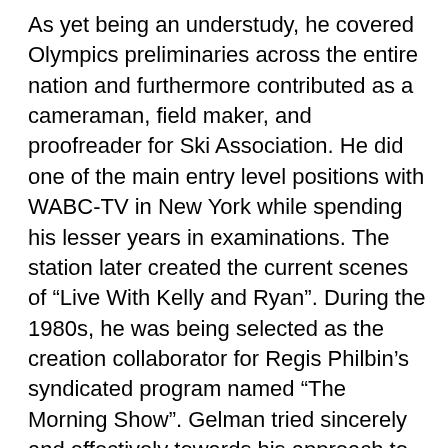As yet being an understudy, he covered Olympics preliminaries across the entire nation and furthermore contributed as a cameraman, field maker, and proofreader for Ski Association. He did one of the main entry level positions with WABC-TV in New York while spending his lesser years in examinations. The station later created the current scenes of “Live With Kelly and Ryan”. During the 1980s, he was being selected as the creation collaborator for Regis Philbin’s syndicated program named “The Morning Show”. Gelman tried sincerely and effectively towards his approach to become leader maker for the show “The Morning Show” which later turned out to be live. Gelman personified in the shows including The Dana Carvey Show and Saturday Night Live